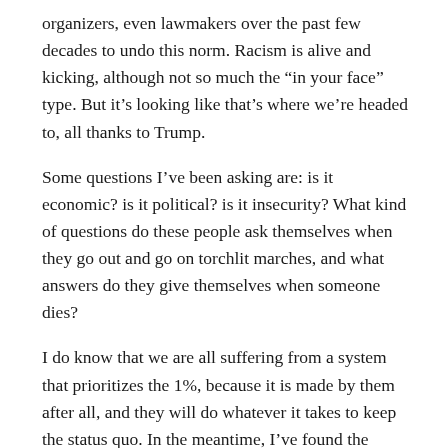organizers, even lawmakers over the past few decades to undo this norm. Racism is alive and kicking, although not so much the “in your face” type. But it’s looking like that’s where we’re headed to, all thanks to Trump.
Some questions I’ve been asking are: is it economic? is it political? is it insecurity? What kind of questions do these people ask themselves when they go out and go on torchlit marches, and what answers do they give themselves when someone dies?
I do know that we are all suffering from a system that prioritizes the 1%, because it is made by them after all, and they will do whatever it takes to keep the status quo. In the meantime, I’ve found the Southern Law Poverty Center’s community response guide to be helpful, as it provides context, education and different resources in the face of hate and racism.